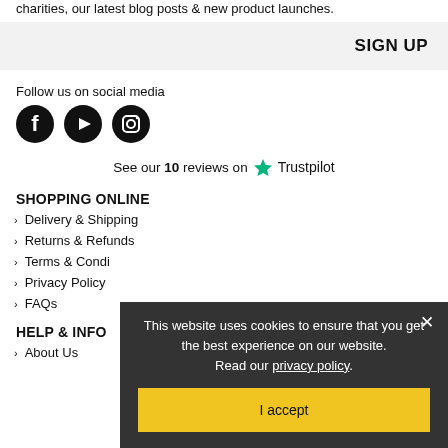charities, our latest blog posts & new product launches.
SIGN UP
Follow us on social media
[Figure (illustration): Three social media icons: Facebook, YouTube, Instagram in black circles]
See our 10 reviews on Trustpilot
SHOPPING ONLINE
Delivery & Shipping
Returns & Refunds
Terms & Conditions
Privacy Policy
FAQs
HELP & INFO
About Us
This website uses cookies to ensure that you get the best experience on our website. Read our privacy policy.
I accept